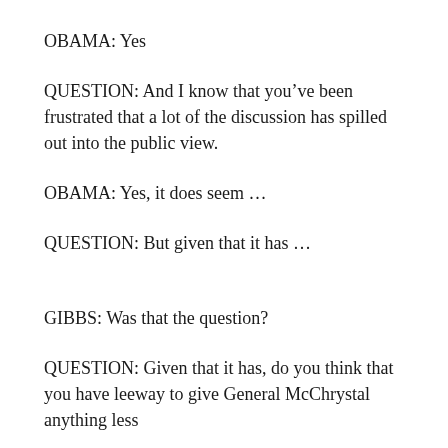OBAMA: Yes
QUESTION: And I know that you’ve been frustrated that a lot of the discussion has spilled out into the public view.
OBAMA: Yes, it does seem …
QUESTION: But given that it has …
GIBBS: Was that the question?
QUESTION: Given that it has, do you think that you have leeway to give General McChrystal anything less